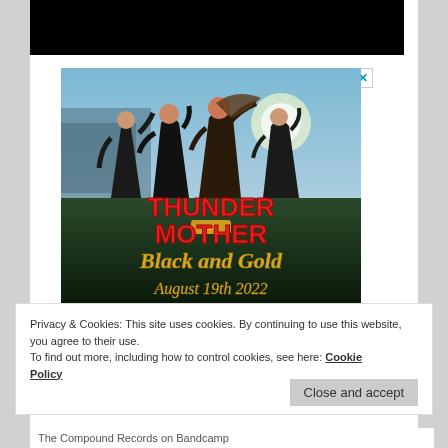[Figure (photo): Black video placeholder bar at top of page]
[Figure (photo): Thundermother band advertisement image showing four women with arms raised, text: THUNDER MOTHER Black and Gold August 19th 2022]
Privacy & Cookies: This site uses cookies. By continuing to use this website, you agree to their use.
To find out more, including how to control cookies, see here: Cookie Policy
Close and accept
The Compound Records on Bandcamp